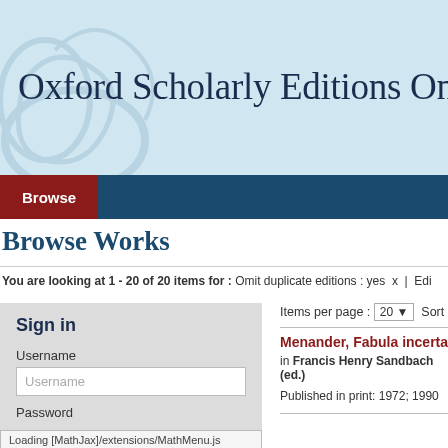[Figure (screenshot): Oxford Scholarly Editions Online website header banner with light blue background and decorative watermark]
Oxford Scholarly Editions Onli...
Browse
Browse Works
You are looking at 1 - 20 of 20 items for :   Omit duplicate editions : yes  x   Edi...
Items per page :  20 ▾   Sort by :  Wor...
Sign in
Username
Username
Password
Loading [MathJax]/extensions/MathMenu.js
Menander, Fabula incerta...
in Francis Henry Sandbach (ed.)
Published in print: 1972; 1990